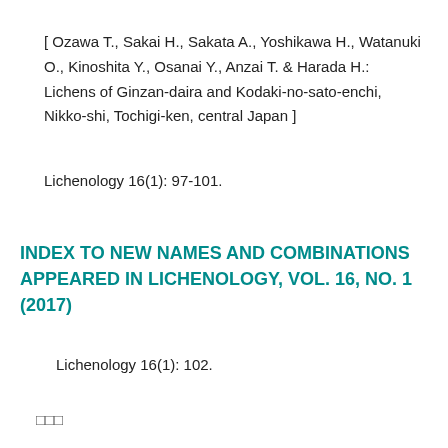[ Ozawa T., Sakai H., Sakata A., Yoshikawa H., Watanuki O., Kinoshita Y., Osanai Y., Anzai T. & Harada H.: Lichens of Ginzan-daira and Kodaki-no-sato-enchi, Nikko-shi, Tochigi-ken, central Japan ]
Lichenology 16(1): 97-101.
INDEX TO NEW NAMES AND COMBINATIONS APPEARED IN LICHENOLOGY, VOL. 16, NO. 1 (2017)
Lichenology 16(1): 102.
□□□